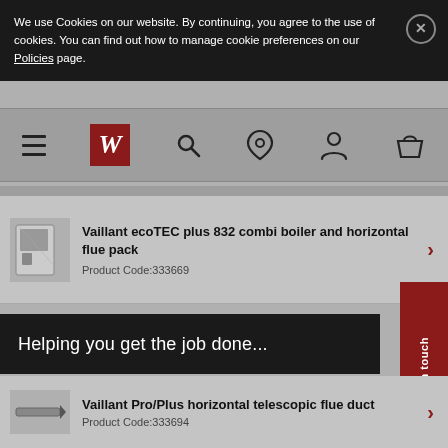We use Cookies on our website. By continuing, you agree to the use of cookies. You can find out how to manage cookie preferences on our Policies page.
[Figure (screenshot): Website navigation bar with hamburger menu, W logo, search, location, account, and basket icons]
[Figure (screenshot): Product listing: Vaillant ecoTEC plus 832 combi boiler and horizontal flue pack, Product Code:333669]
Vaillant ecoTEC plus 832 combi boiler and horizontal flue pack
Product Code:333669
Helping you get the job done...
Get in touch
Vaillant Pro/Plus horizontal telescopic flue duct
Product Code:333694